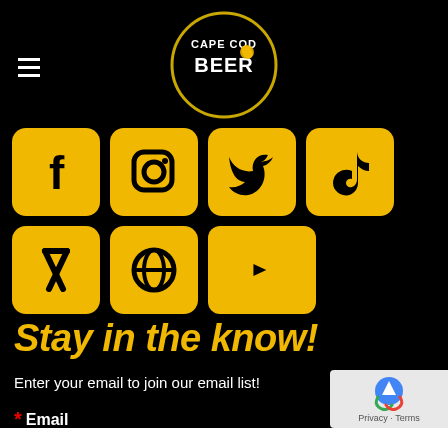[Figure (logo): Cape Cod Beer logo — oval black and white badge with 'CAPE COD BEER' text and hop graphic]
[Figure (infographic): Seven social media icons (Facebook, Instagram, Twitter, TikTok, Untappd, Untappd/email, YouTube) in yellow rounded-square tiles on black background]
Stay in the know!
Enter your email to join our email list!
* Email